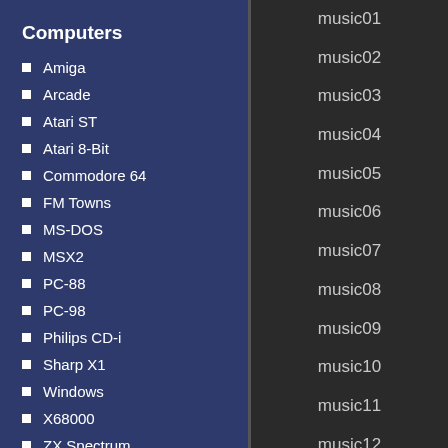Computers
Amiga
Arcade
Atari ST
Atari 8-Bit
Commodore 64
FM Towns
MS-DOS
MSX2
PC-88
PC-98
Philips CD-i
Sharp X1
Windows
X68000
ZX Spectrum
Emulated Files
music01
music02
music03
music04
music05
music06
music07
music08
music09
music10
music11
music12
music13
music14
music15